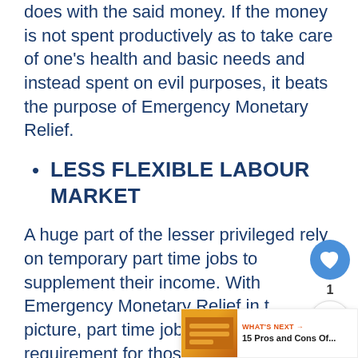does with the said money. If the money is not spent productively as to take care of one's health and basic needs and instead spent on evil purposes, it beats the purpose of Emergency Monetary Relief.
LESS FLEXIBLE LABOUR MARKET
A huge part of the lesser privileged rely on temporary part time jobs to supplement their income. With Emergency Monetary Relief in the picture, part time jobs will cease to be a requirement for those people which will